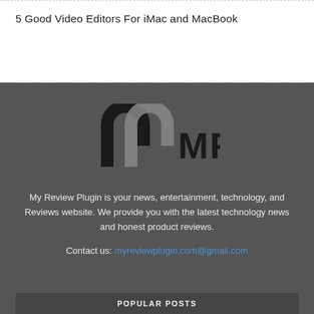5 Good Video Editors For iMac and MacBook
[Figure (logo): MRP logo with two overlapping arch shapes (black and grey) and bold text 'MRP']
My Review Plugin is your news, entertainment, technology, and Reviews website. We provide you with the latest technology news and honest product reviews.
Contact us: myreviewplugin.com@gmail.com
POPULAR POSTS